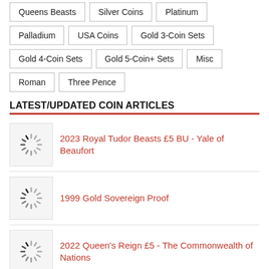Queens Beasts
Silver Coins
Platinum
Palladium
USA Coins
Gold 3-Coin Sets
Gold 4-Coin Sets
Gold 5-Coin+ Sets
Misc
Roman
Three Pence
LATEST/UPDATED COIN ARTICLES
2023 Royal Tudor Beasts £5 BU - Yale of Beaufort
1999 Gold Sovereign Proof
2022 Queen's Reign £5 - The Commonwealth of Nations